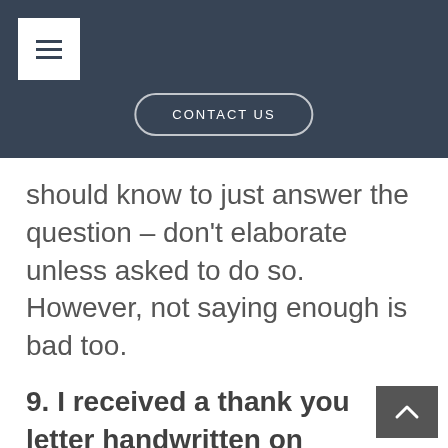[Figure (screenshot): Navigation header bar with hamburger menu button and CONTACT US button on dark blue-grey background]
should know to just answer the question – don't elaborate unless asked to do so. However, not saying enough is bad too.
9. I received a thank you letter handwritten on letterhead/plain paper. It was very